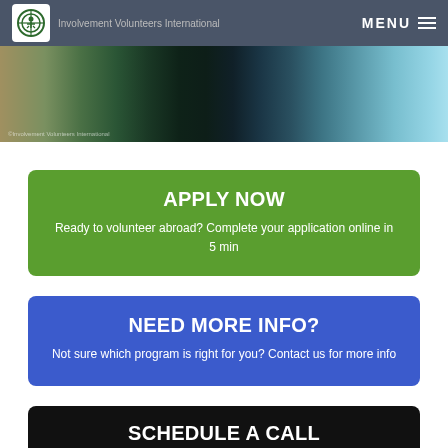Involvement Volunteers International — MENU
[Figure (photo): Aerial coastal landscape showing cliffs, dark sandy beach, and ocean waves]
APPLY NOW
Ready to volunteer abroad? Complete your application online in 5 min
NEED MORE INFO?
Not sure which program is right for you? Contact us for more info
SCHEDULE A CALL